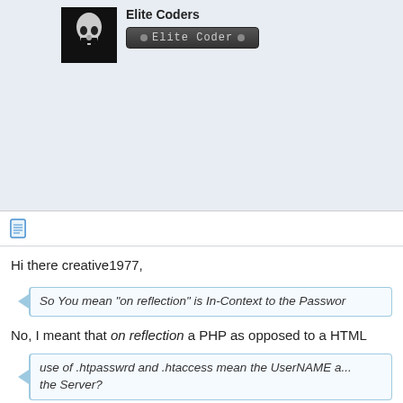[Figure (photo): Dark avatar image showing a skull]
Elite Coders
[Figure (other): Elite Coder badge button with dark gradient background]
[Figure (other): Document/text icon]
Hi there creative1977,
So You mean "on reflection" is In-Context to the Passwor...
No, I meant that on reflection a PHP as opposed to a HTML...
use of .htpasswrd and .htaccess mean the UserNAME a... the Server?
Yes, the two files should communicate with the server, but I
correctly.
If you wish to try yourself, check out this link.